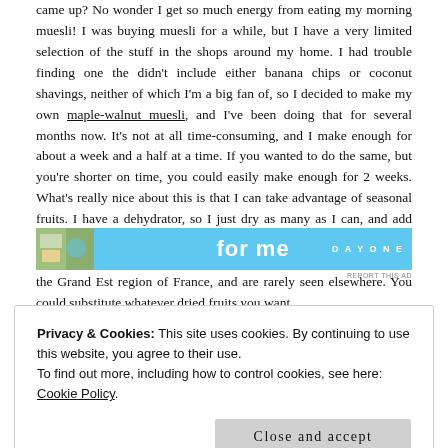came up? No wonder I get so much energy from eating my morning muesli! I was buying muesli for a while, but I have a very limited selection of the stuff in the shops around my home. I had trouble finding one the didn't include either banana chips or coconut shavings, neither of which I'm a big fan of, so I decided to make my own maple-walnut muesli, and I've been doing that for several months now. It's not at all time-consuming, and I make enough for about a week and a half at a time. If you wanted to do the same, but you're shorter on time, you could easily make enough for 2 weeks. What's really nice about this is that I can take advantage of seasonal fruits. I have a dehydrator, so I just dry as many as I can, and add them to the muesli until they run out. I love when it's mirabelle season – mirabelles are berry-sized yellow plums that only grow in the Grand Est region of France, and are rarely seen elsewhere. You could substitute whatever dried fruits you want.
[Figure (other): Advertisement banner with blue background, food image on left, text 'for me' in center, and 'DAY ONE' logo on right]
Privacy & Cookies: This site uses cookies. By continuing to use this website, you agree to their use.
To find out more, including how to control cookies, see here: Cookie Policy
Close and accept